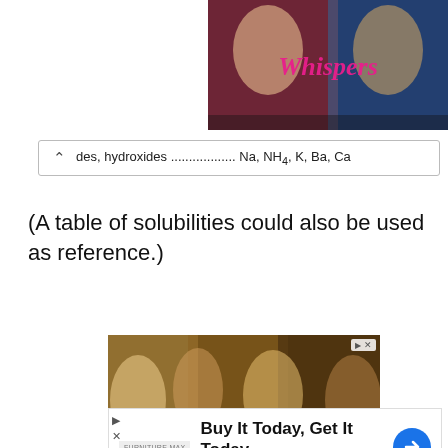[Figure (screenshot): Top advertisement showing 'Whispers' game/app with colorful character art]
des, hydroxides ............... Na, NH4, K, Ba, Ca
(A table of solubilities could also be used as reference.)
[Figure (photo): Advertisement photo showing group of friends eating food with melted cheese]
[Figure (screenshot): Furniture Max advertisement: Buy It Today, Get It Today - Furniture Max]